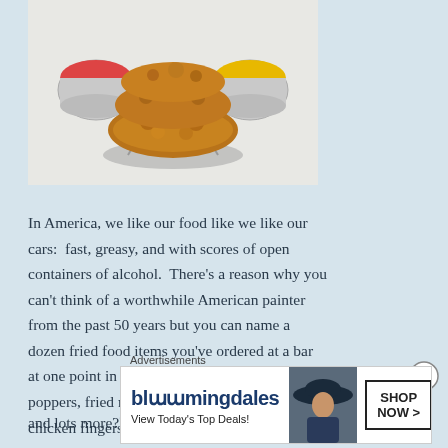[Figure (photo): Photo of fried chicken pieces stacked on a metal rack/stand with two small dipping sauce cups — one with red/orange sauce on the left and one with yellow mustard sauce on the right, on a white background.]
In America, we like our food like we like our cars:  fast, greasy, and with scores of open containers of alcohol.  There's a reason why you can't think of a worthwhile American painter from the past 50 years but you can name a dozen fried food items you've ordered at a bar at one point in your life (French fries, jalapeno poppers, fried mushrooms, mozzarella sticks, chicken fingers, nachos, fried shrimp, chicken wings, and lots more?). Yes, fried foods are
[Figure (other): Close (X) button circle icon on the right side]
Advertisements
[Figure (other): Bloomingdales advertisement banner: logo text 'bloomingdales', tagline 'View Today's Top Deals!', image of woman in wide-brim hat, and 'SHOP NOW >' button]